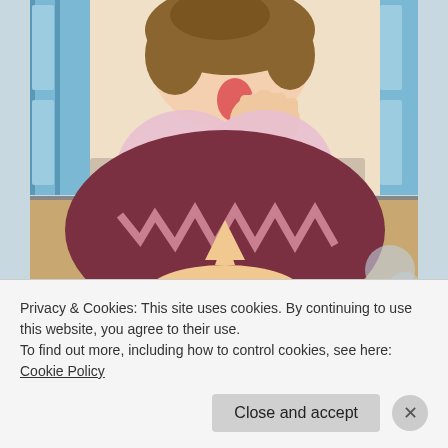[Figure (screenshot): Two-panel anime screenshot. Top panel shows a female anime character with brown hair, pink rounded torso, sticking out tongue with subtitle text 'Er... you could put it that way...' Bottom panel shows the top of a male anime character's head with dark reddish-brown hair featuring a zigzag/lightning bolt pattern.]
Privacy & Cookies: This site uses cookies. By continuing to use this website, you agree to their use.
To find out more, including how to control cookies, see here: Cookie Policy
Close and accept